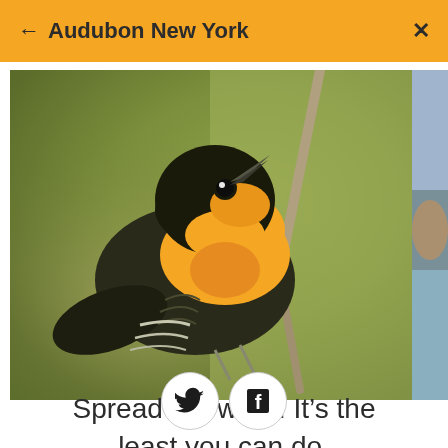← Audubon New York ×
[Figure (photo): Close-up photo of a yellow-and-black warbler bird perched on a twig, looking upward. A partial second image is visible on the right edge.]
Spread the word. It's the least you can do.
[Figure (illustration): Twitter bird icon and Facebook 'f' icon, each inside a circle outline, displayed as social sharing buttons.]